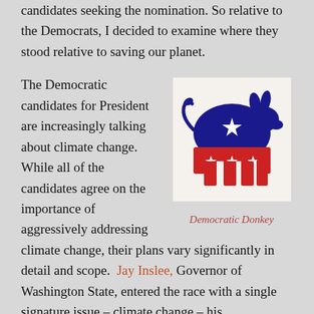candidates seeking the nomination. So relative to the Democrats, I decided to examine where they stood relative to saving our planet.
The Democratic candidates for President are increasingly talking about climate change. While all of the candidates agree on the importance of aggressively addressing climate change, their plans vary significantly in detail and scope. Jay Inslee, Governor of Washington State, entered the race with a single signature issue – climate change – his
[Figure (illustration): Democratic Donkey logo: a blue donkey with white stars on its body, standing over a red base with white stars, on a light background.]
Democratic Donkey